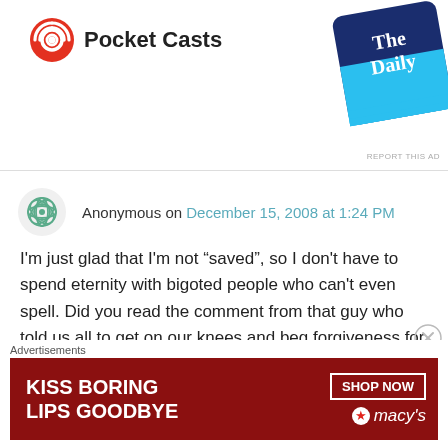[Figure (screenshot): Pocket Casts app advertisement with logo and 'The Daily' podcast card in top right corner]
Anonymous on December 15, 2008 at 1:24 PM
I'm just glad that I'm not “saved”, so I don't have to spend eternity with bigoted people who can't even spell. Did you read the comment from that guy who told us all to get on our knees and beg forgiveness for our “blasfemy”? Hey Patrick, it’s supposed to be “ph” (not “f”) from the Greek, as in the language in which the new testament was originally written.
[Figure (screenshot): Macy's advertisement banner: KISS BORING LIPS GOODBYE with SHOP NOW button and Macy's logo on red background]